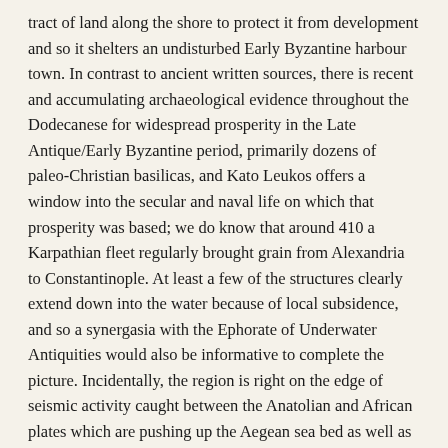tract of land along the shore to protect it from development and so it shelters an undisturbed Early Byzantine harbour town. In contrast to ancient written sources, there is recent and accumulating archaeological evidence throughout the Dodecanese for widespread prosperity in the Late Antique/Early Byzantine period, primarily dozens of paleo-Christian basilicas, and Kato Leukos offers a window into the secular and naval life on which that prosperity was based; we do know that around 410 a Karpathian fleet regularly brought grain from Alexandria to Constantinople. At least a few of the structures clearly extend down into the water because of local subsidence, and so a synergasia with the Ephorate of Underwater Antiquities would also be informative to complete the picture. Incidentally, the region is right on the edge of seismic activity caught between the Anatolian and African plates which are pushing up the Aegean sea bed as well as an active volcanic arc, and deserves serious geological analysis as well. Finally, the uniquely preserved complex of cisterns on top of Sokastro may well exemplify a naval base where ships of someone's fleet could be resupplied with water, etc., and so determining who built it and when would have obvious ramifications for our meager knowledge of the naval history of the Aegean in the Middle Byzantine period, when Crusaders from the West...